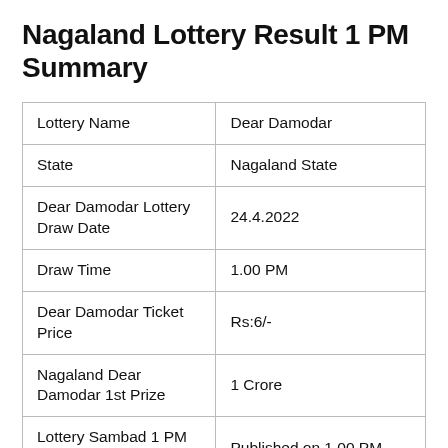Nagaland Lottery Result 1 PM Summary
| Lottery Name | Dear Damodar |
| State | Nagaland State |
| Dear Damodar Lottery Draw Date | 24.4.2022 |
| Draw Time | 1.00 PM |
| Dear Damodar Ticket Price | Rs:6/- |
| Nagaland Dear Damodar 1st Prize | 1 Crore |
| Lottery Sambad 1 PM Result Status | Published on 1.00 PM |